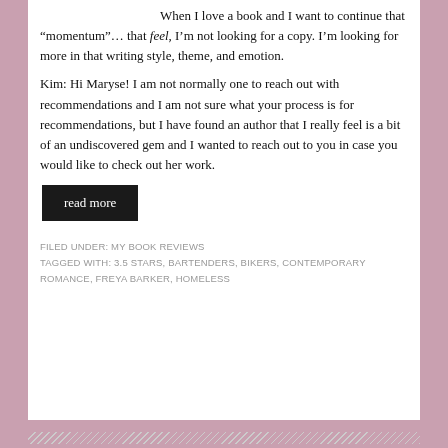When I love a book and I want to continue that “momentum”… that feel, I’m not looking for a copy. I’m looking for more in that writing style, theme, and emotion.
Kim: Hi Maryse! I am not normally one to reach out with recommendations and I am not sure what your process is for recommendations, but I have found an author that I really feel is a bit of an undiscovered gem and I wanted to reach out to you in case you would like to check out her work.
read more
FILED UNDER: MY BOOK REVIEWS
TAGGED WITH: 3.5 STARS, BARTENDERS, BIKERS, CONTEMPORARY ROMANCE, FREYA BARKER, HOMELESS